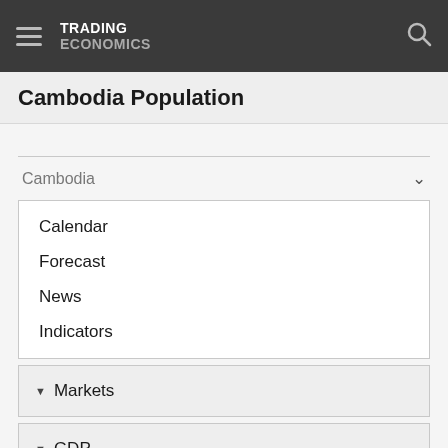TRADING ECONOMICS
Cambodia Population
Cambodia
Calendar
Forecast
News
Indicators
Markets
GDP
Labour